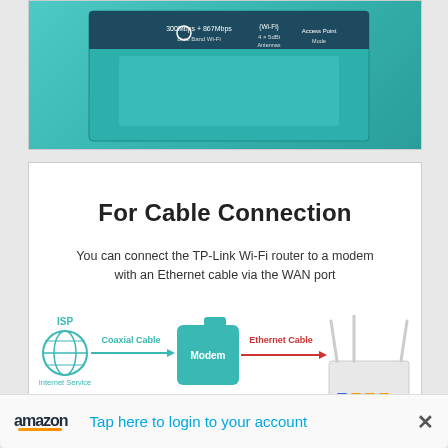[Figure (photo): Top portion of TP-Link router product box with teal/cyan branding and product specifications text]
For Cable Connection
You can connect the TP-Link Wi-Fi router to a modem with an Ethernet cable via the WAN port
[Figure (infographic): Cable connection diagram showing ISP globe icon connected via Coaxial Cable to a teal Modem block, then via Ethernet Cable (red line) to a TP-Link Wi-Fi router. Labels: ISP, Internet Service, Coaxial Cable, Modem, Ethernet Cable, WAN Port.]
Tap here to login to your account